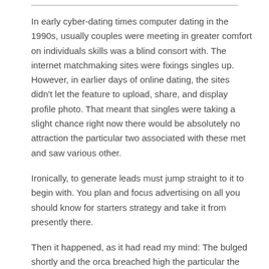In early cyber-dating times computer dating in the 1990s, usually couples were meeting in greater comfort on individuals skills was a blind consort with. The internet matchmaking sites were fixings singles up. However, in earlier days of online dating, the sites didn't let the feature to upload, share, and display profile photo. That meant that singles were taking a slight chance right now there would be absolutely no attraction the particular two associated with these met and saw various other.
Ironically, to generate leads must jump straight to it to begin with. You plan and focus advertising on all you should know for starters strategy and take it from presently there.
Then it happened, as it had read my mind: The bulged shortly and the orca breached high the particular the sea just parallel to our boat. My camera was firmly on target and therefore i made sure not to overlook its noggin. It was awesome and scary to be